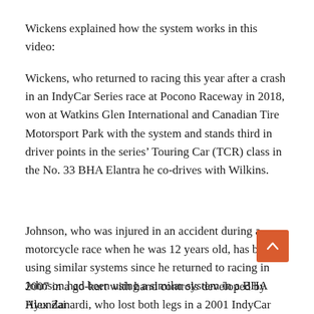Wickens explained how the system works in this video:
Wickens, who returned to racing this year after a crash in an IndyCar Series race at Pocono Raceway in 2018, won at Watkins Glen International and Canadian Tire Motorsport Park with the system and stands third in driver points in the series’ Touring Car (TCR) class in the No. 33 BHA Elantra he co-drives with Wilkins.
Johnson, who was injured in an accident during a motorcycle race when he was 12 years old, has been using similar systems since he returned to racing in 2007 in a go-kart with hand controls developed by Alex Zanardi, who lost both legs in a 2001 IndyCar crash.
[Figure (other): Scroll-to-top button (orange/red rounded square with upward chevron arrow)]
Johnson had been using a similar system in a BHA Hyundai